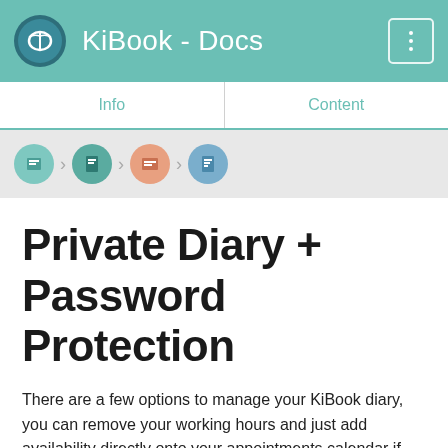KiBook - Docs
Info | Content
[Figure (screenshot): Breadcrumb navigation icons: four circular icons with arrows between them]
Private Diary + Password Protection
There are a few options to manage your KiBook diary, you can remove your working hours and just add availability directly onto your appointments calendar if and when you choose! You can also password protect your KiBook account to limit who books appointments! 🔒